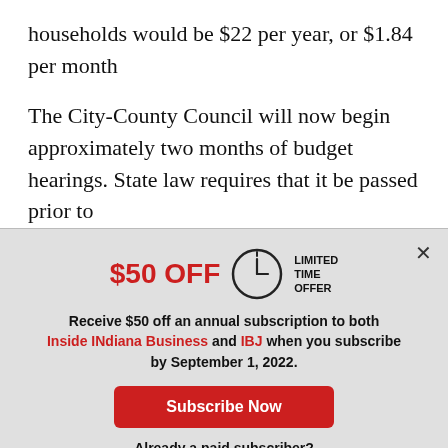households would be $22 per year, or $1.84 per month
The City-County Council will now begin approximately two months of budget hearings. State law requires that it be passed prior to
[Figure (other): Subscription modal overlay with '$50 OFF' in red, a clock icon, 'LIMITED TIME OFFER' text, offer details for Inside INdiana Business and IBJ, a red 'Subscribe Now' button, and a 'Log In' button for existing subscribers.]